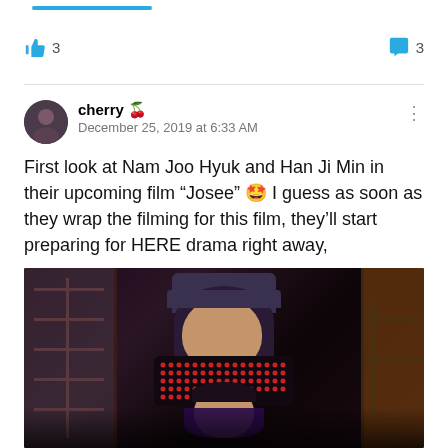3 likes, 3 comments
cherry 🍒
December 25, 2019 at 6:33 AM
First look at Nam Joo Hyuk and Han Ji Min in their upcoming film “Josee” 🤩 I guess as soon as they wrap the filming for this film, they’ll start preparing for HERE drama right away,
[Figure (photo): A dark film still showing two people, one standing behind the other wearing a cap and a collar with red LED lights, set in an indoor scene with window panes visible on left and right.]